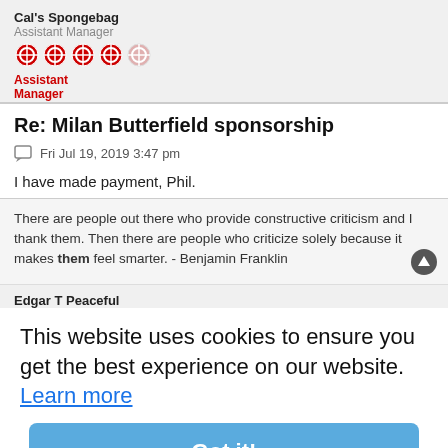Cal's Spongebag
Assistant Manager
[Figure (other): Row of 5 red and white circular badge/star icons representing user rank]
Assistant
Manager
Re: Milan Butterfield sponsorship
Fri Jul 19, 2019 3:47 pm
I have made payment, Phil.
There are people out there who provide constructive criticism and I thank them. Then there are people who criticize solely because it makes them feel smarter. - Benjamin Franklin
Edgar T Peaceful
I helped to sponsor Jack Tolleys home shirt
This website uses cookies to ensure you get the best experience on our website. Learn more
Got it!
Fri Jul 19, 2019 8:36 pm
Phil wrote: